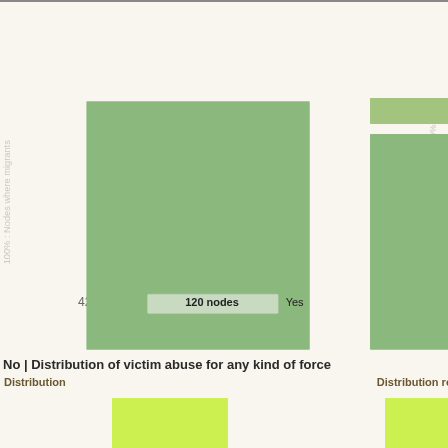[Figure (other): Treemap/bar chart showing distribution of nodes. Left chart shows 42% label with 120 nodes Yes marker and vertical axis label '100% : Nodes where migrants'. Right portion shows similar chart with '100% : All the nodes in' label. A 'Get SVG' button appears in the middle. 'Distribu...' label at bottom right.]
No | Distribution of victim abuse for any kind of force
Distribution    Distribution re